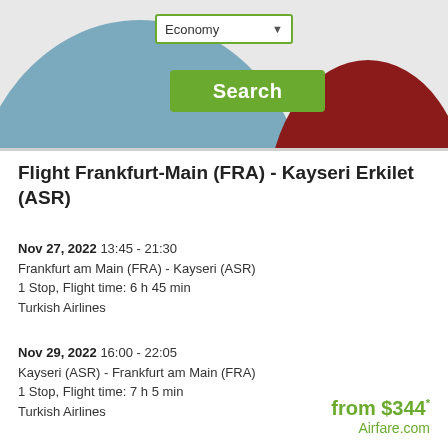[Figure (screenshot): Website header with Economy dropdown selector, Search button, blue and dark red decorative semicircles on grey background]
Flight Frankfurt-Main (FRA) - Kayseri Erkilet (ASR)
Nov 27, 2022 13:45 - 21:30
Frankfurt am Main (FRA) - Kayseri (ASR)
1 Stop, Flight time: 6 h 45 min
Turkish Airlines
Nov 29, 2022 16:00 - 22:05
Kayseri (ASR) - Frankfurt am Main (FRA)
1 Stop, Flight time: 7 h 5 min
Turkish Airlines
from $344*
Airfare.com